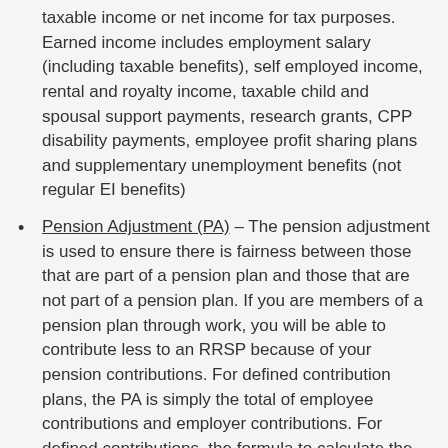taxable income or net income for tax purposes. Earned income includes employment salary (including taxable benefits), self employed income, rental and royalty income, taxable child and spousal support payments, research grants, CPP disability payments, employee profit sharing plans and supplementary unemployment benefits (not regular EI benefits)
Pension Adjustment (PA) – The pension adjustment is used to ensure there is fairness between those that are part of a pension plan and those that are not part of a pension plan. If you are members of a pension plan through work, you will be able to contribute less to an RRSP because of your pension contributions. For defined contribution plans, the PA is simply the total of employee contributions and employer contributions. For defined contributions, the formula to calculate the PA is more complicated.
Previous year – one of the mistakes I see people make